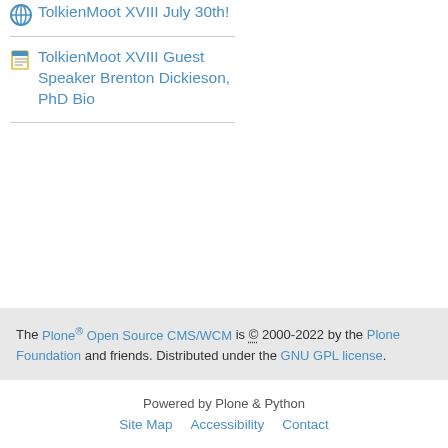TolkienMoot XVIII July 30th!
TolkienMoot XVIII Guest Speaker Brenton Dickieson, PhD Bio
The Plone® Open Source CMS/WCM is © 2000-2022 by the Plone Foundation and friends. Distributed under the GNU GPL license.
Powered by Plone & Python  Site Map  Accessibility  Contact